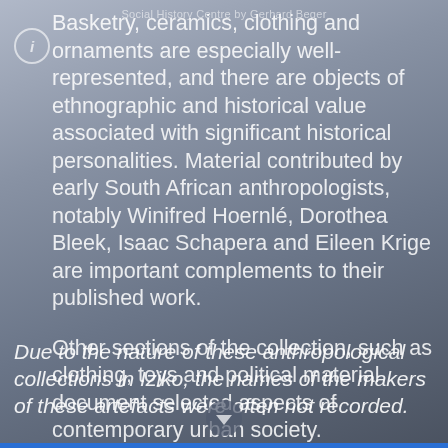Social History Centre by Gerhard Beger
Basketry, ceramics, clothing and ornaments are especially well-represented, and there are objects of ethnographic and historical value associated with significant historical personalities. Material contributed by early South African anthropologists, notably Winifred Hoernlé, Dorothea Bleek, Isaac Schapera and Eileen Krige are important complements to their published work.

Other sections of the collection, such as clothing, toys and political material document selected aspects of contemporary urban society.
Due to the nature of these anthropological collections in Iziko, the names of the makers of these artefacts were often not recorded.